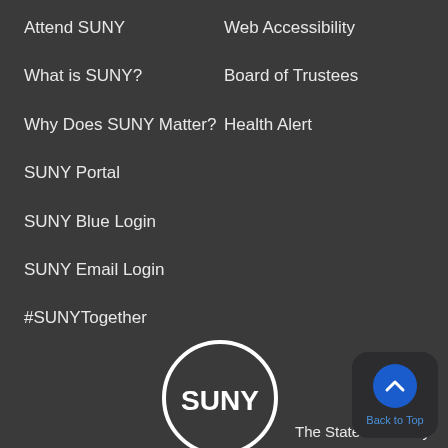Attend SUNY
Web Accessibility
What is SUNY?
Board of Trustees
Why Does SUNY Matter?
Health Alert
SUNY Portal
SUNY Blue Login
SUNY Email Login
#SUNYTogether
[Figure (logo): SUNY circular logo with text SUNY inside a circle]
The State University
[Figure (illustration): Back to Top button with upward chevron arrow on blue circle background]